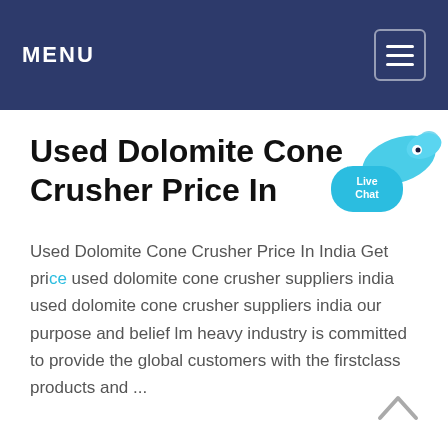MENU
Used Dolomite Cone Crusher Price In
[Figure (illustration): Live Chat widget bubble with fish/rocket shape and close X button]
Used Dolomite Cone Crusher Price In India Get price used dolomite cone crusher suppliers india used dolomite cone crusher suppliers india our purpose and belief lm heavy industry is committed to provide the global customers with the firstclass products and ...